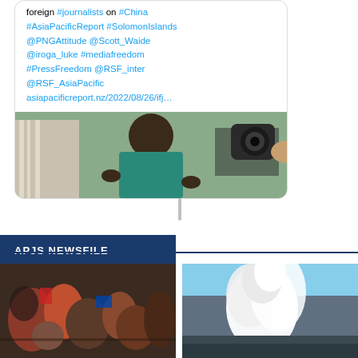[Figure (screenshot): Tweet card showing hashtags and mentions: foreign #journalists on #China #AsiaPacificReport #SolomonIslands @PNGAttitude @Scott_Waide @iroga_luke #mediafreedom #PressFreedom @RSF_inter @RSF_AsiaPacific asiapacificreport.nz/2022/08/26/ifj... with a photo of people including a man in teal shirt being filmed]
APJS NEWSFILE
[Figure (photo): Crowd of people, diverse group gathered together]
[Figure (photo): White smoke or clouds against a blue sky, possibly volcanic eruption]